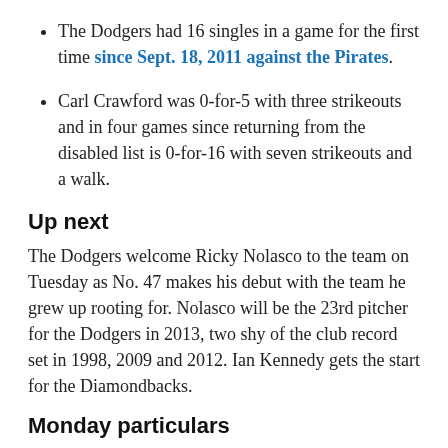The Dodgers had 16 singles in a game for the first time since Sept. 18, 2011 against the Pirates.
Carl Crawford was 0-for-5 with three strikeouts and in four games since returning from the disabled list is 0-for-16 with seven strikeouts and a walk.
Up next
The Dodgers welcome Ricky Nolasco to the team on Tuesday as No. 47 makes his debut with the team he grew up rooting for. Nolasco will be the 23rd pitcher for the Dodgers in 2013, two shy of the club record set in 1998, 2009 and 2012. Ian Kennedy gets the start for the Diamondbacks.
Monday particulars
Home runs: none